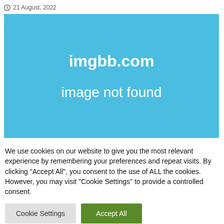21 August, 2022
[Figure (other): imgbb.com image not found placeholder — blue background with white text reading 'imgbb.com' and 'image not found']
We use cookies on our website to give you the most relevant experience by remembering your preferences and repeat visits. By clicking "Accept All", you consent to the use of ALL the cookies. However, you may visit "Cookie Settings" to provide a controlled consent.
Cookie Settings | Accept All